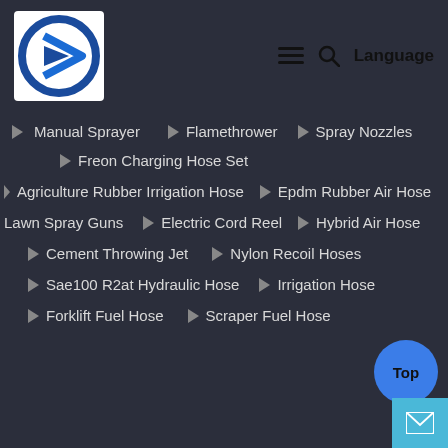[Figure (logo): Company logo with stylized blue R letter on white background]
≡ 🔍 Language
Manual Sprayer
Flamethrower
Spray Nozzles
Freon Charging Hose Set
Agriculture Rubber Irrigation Hose
Epdm Rubber Air Hose
Lawn Spray Guns
Electric Cord Reel
Hybrid Air Hose
Cement Throwing Jet
Nylon Recoil Hoses
Sae100 R2at Hydraulic Hose
Irrigation Hose
Forklift Fuel Hose
Scraper Fuel Hose